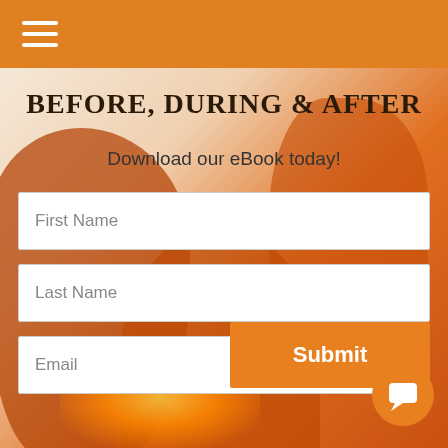☰ (hamburger menu)
Before, During & After
Download our eBook today!
First Name
Last Name
Email
Submit
[Figure (illustration): Orange silhouette illustration of people against a warm gradient background]